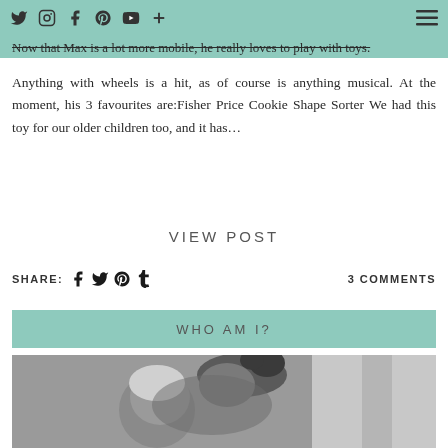Social icons: Twitter, Instagram, Facebook, Pinterest, YouTube, Plus | Hamburger menu
Now that Max is a lot more mobile, he really loves to play with toys. Anything with wheels is a hit, as of course is anything musical. At the moment, his 3 favourites are:Fisher Price Cookie Shape Sorter We had this toy for our older children too, and it has...
VIEW POST
SHARE: [Facebook] [Twitter] [Pinterest] [Tumblr]    3 COMMENTS
WHO AM I?
[Figure (photo): Black and white photo of a woman with her hair up kissing or nuzzling a young child/toddler]